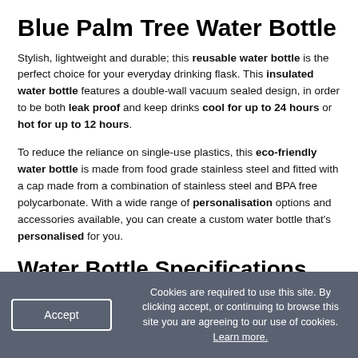Blue Palm Tree Water Bottle
Stylish, lightweight and durable; this reusable water bottle is the perfect choice for your everyday drinking flask. This insulated water bottle features a double-wall vacuum sealed design, in order to be both leak proof and keep drinks cool for up to 24 hours or hot for up to 12 hours.
To reduce the reliance on single-use plastics, this eco-friendly water bottle is made from food grade stainless steel and fitted with a cap made from a combination of stainless steel and BPA free polycarbonate. With a wide range of personalisation options and accessories available, you can create a custom water bottle that's personalised for you.
Water Bottle Specifications
Water Bottle Dimensions & Capacity
Cookies are required to use this site. By clicking accept, or continuing to browse this site you are agreeing to our use of cookies. Learn more.